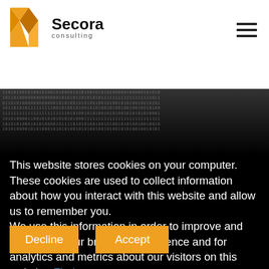[Figure (logo): Secora Consulting logo with orange origami-style 'S' shape and company name]
[Figure (illustration): Dark banner with scrolling binary code (0s and 1s) pattern, gradient from dark grey to black]
This website stores cookies on your computer. These cookies are used to collect information about how you interact with this website and allow us to remember you. We use this information in order to improve and customize your browsing experience and for analytics and metrics about our visitors on this website. Find out more
Decline
Accept